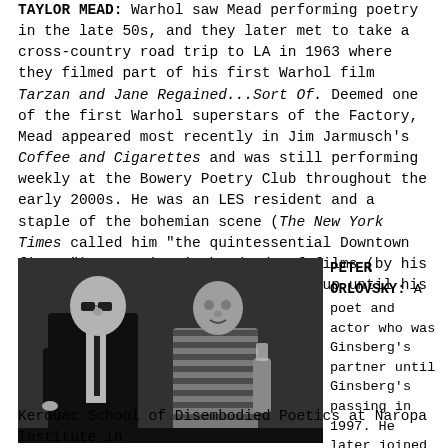TAYLOR MEAD: Warhol saw Mead performing poetry in the late 50s, and they later met to take a cross-country road trip to LA in 1963 where they filmed part of his first Warhol film Tarzan and Jane Regained...Sort Of. Deemed one of the first Warhol superstars of the Factory, Mead appeared most recently in Jim Jarmusch's Coffee and Cigarettes and was still performing weekly at the Bowery Poetry Club throughout the early 2000s. He was an LES resident and a staple of the bohemian scene (The New York Times called him "the quintessential Downtown figure") appearing in hundreds of films (by his count at least) and writing poetry up until his death in 2013.
[Figure (photo): Black and white photograph of Andy Warhol and Taylor Mead standing together. Warhol on the left wearing a suit and tie with his signature white hair and glasses, Mead on the right wearing a striped shirt.]
Andy Warhol & Taylor Mead.
PETER ORLOVSKY: A poet and actor who was Ginsberg's partner until Ginsberg's passing in 1997. He later joined the faculty of the Jack Kerouac School of Disembodied Poetics at Naropa Institute in